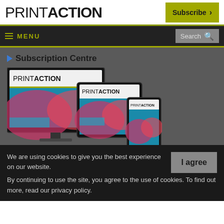PRINTACTION
Subscribe
MENU
Search
Subscription Centre
[Figure (illustration): PrintAction magazine shown on multiple devices: desktop monitor, tablet, and smartphone, all displaying the PrintAction magazine cover with colorful abstract design]
We are using cookies to give you the best experience on our website.
I agree
By continuing to use the site, you agree to the use of cookies. To find out more, read our privacy policy.